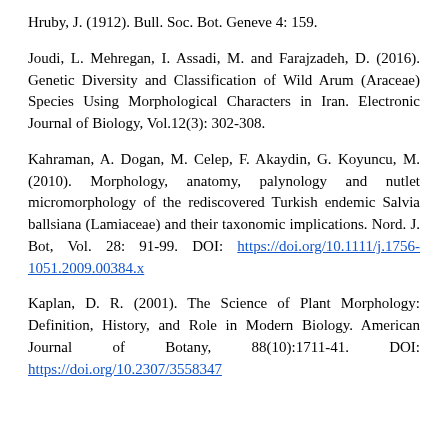Hruby, J. (1912). Bull. Soc. Bot. Geneve 4: 159.
Joudi, L. Mehregan, I. Assadi, M. and Farajzadeh, D. (2016). Genetic Diversity and Classification of Wild Arum (Araceae) Species Using Morphological Characters in Iran. Electronic Journal of Biology, Vol.12(3): 302-308.
Kahraman, A. Dogan, M. Celep, F. Akaydin, G. Koyuncu, M. (2010). Morphology, anatomy, palynology and nutlet micromorphology of the rediscovered Turkish endemic Salvia ballsiana (Lamiaceae) and their taxonomic implications. Nord. J. Bot, Vol. 28: 91-99. DOI: https://doi.org/10.1111/j.1756-1051.2009.00384.x
Kaplan, D. R. (2001). The Science of Plant Morphology: Definition, History, and Role in Modern Biology. American Journal of Botany, 88(10):1711-41. DOI: https://doi.org/10.2307/3558347